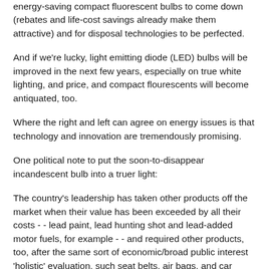energy-saving compact fluorescent bulbs to come down (rebates and life-cost savings already make them attractive) and for disposal technologies to be perfected.
And if we're lucky, light emitting diode (LED) bulbs will be improved in the next few years, especially on true white lighting, and price, and compact flourescents will become antiquated, too.
Where the right and left can agree on energy issues is that technology and innovation are tremendously promising.
One political note to put the soon-to-disappear incandescent bulb into a truer light:
The country's leadership has taken other products off the market when their value has been exceeded by all their costs - - lead paint, lead hunting shot and lead-added motor fuels, for example - - and required other products, too, after the same sort of economic/broad public interest 'holistic' evaluation, such seat belts, air bags, and car seats for infants.